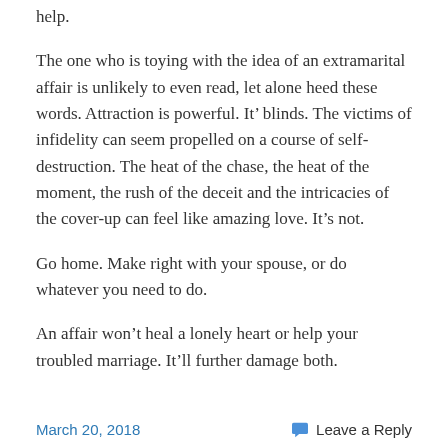help.
The one who is toying with the idea of an extramarital affair is unlikely to even read, let alone heed these words. Attraction is powerful. It’ blinds. The victims of infidelity can seem propelled on a course of self-destruction. The heat of the chase, the heat of the moment, the rush of the deceit and the intricacies of the cover-up can feel like amazing love. It’s not.
Go home. Make right with your spouse, or do whatever you need to do.
An affair won’t heal a lonely heart or help your troubled marriage. It’ll further damage both.
March 20, 2018    Leave a Reply